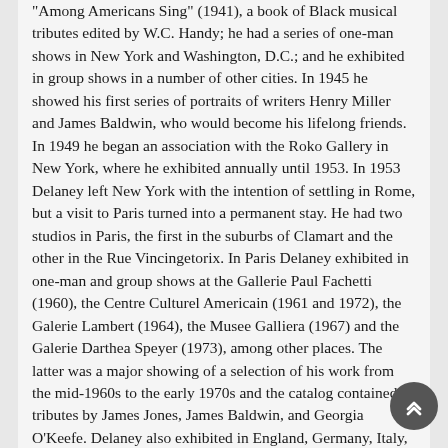"Among Americans Sing" (1941), a book of Black musical tributes edited by W.C. Handy; he had a series of one-man shows in New York and Washington, D.C.; and he exhibited in group shows in a number of other cities. In 1945 he showed his first series of portraits of writers Henry Miller and James Baldwin, who would become his lifelong friends. In 1949 he began an association with the Roko Gallery in New York, where he exhibited annually until 1953. In 1953 Delaney left New York with the intention of settling in Rome, but a visit to Paris turned into a permanent stay. He had two studios in Paris, the first in the suburbs of Clamart and the other in the Rue Vincingetorix. In Paris Delaney exhibited in one-man and group shows at the Gallerie Paul Fachetti (1960), the Centre Culturel Americain (1961 and 1972), the Galerie Lambert (1964), the Musee Galliera (1967) and the Galerie Darthea Speyer (1973), among other places. The latter was a major showing of a selection of his work from the mid-1960s to the early 1970s and the catalog contained tributes by James Jones, James Baldwin, and Georgia O'Keefe. Delaney also exhibited in England, Germany, Italy, Spain, Switzerland and the United States. The Paris years saw the creation of several masterpieces including portraits of singer Marian Anderson and writer Jean Genet. During this period he also created a series of interiors and studies in watercolor. After suffering two nervous breakdowns, Delaney was institutionalized, and died on March 26, 1979 at St. Ann's Hospital in Paris. Delaney's last one-man show in the